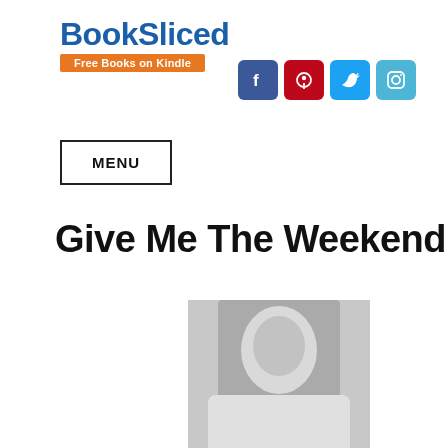[Figure (logo): BookSliced logo with blue bold text and orange 'Free Books on Kindle' subtitle banner]
[Figure (infographic): Social media icons: Facebook (blue), Pinterest (red), Twitter (light blue), Instagram (light blue)]
MENU
Give Me The Weekend
[Figure (photo): Book cover of 'Give Me The Weekend' showing a man in black and white photo with red and white title text at the bottom]